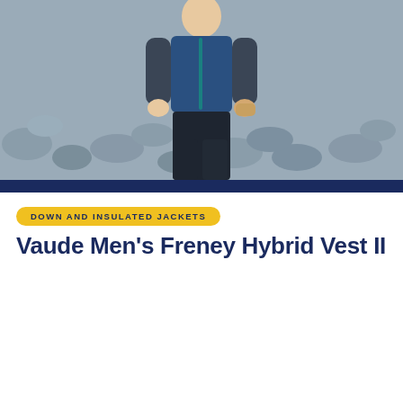[Figure (photo): A man standing outdoors on rocky terrain wearing a blue hybrid vest/jacket and dark pants]
DOWN AND INSULATED JACKETS
Vaude Men's Freney Hybrid Vest II
We use cookies on our website to give you the most relevant experience by remembering your preferences and repeat visits. By clicking "Accept All", you consent to the use of ALL the cookies. However, you may visit "Cookie Settings" to provide a controlled consent.
Cookie Settings | Accept All